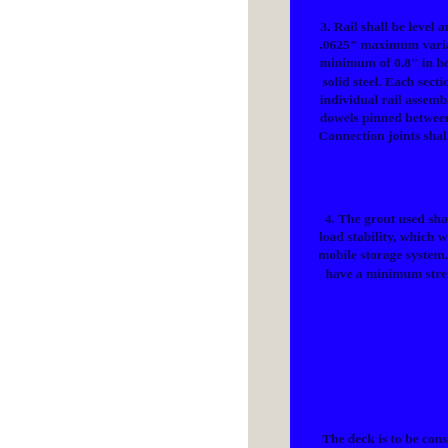3. Rail shall be level and .0625" maximum variation minimum of 0.8" in height solid steel. Each section individual rail assembly. dowels pinned between th Connection joints shall de
4. The grout used shall load stability, which whe mobile storage system. Gr have a minimum stren
The deck is to be constr